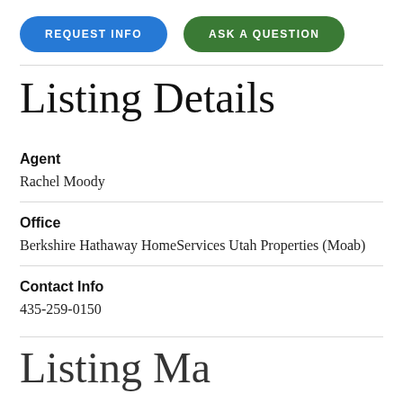[Figure (other): Two buttons: 'REQUEST INFO' (blue, pill-shaped) and 'ASK A QUESTION' (green, pill-shaped)]
Listing Details
Agent
Rachel Moody
Office
Berkshire Hathaway HomeServices Utah Properties (Moab)
Contact Info
435-259-0150
Listing Ma…